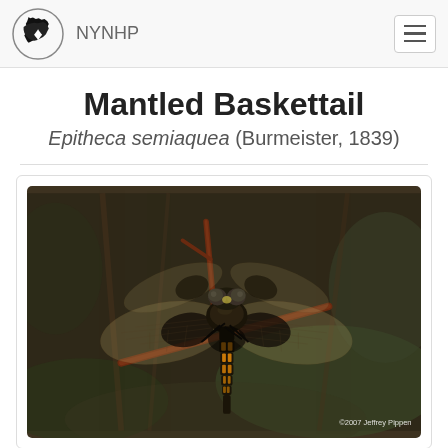NYNHP
Mantled Baskettail
Epitheca semiaquea (Burmeister, 1839)
[Figure (photo): Close-up photograph of a Mantled Baskettail dragonfly (Epitheca semiaquea) perched on a reddish-brown twig. The dragonfly has large transparent wings with dark patches, a black body with yellow/orange spots along the abdomen, and large compound eyes. Background shows blurred brown and green vegetation. Photo credit: ©2007 Jeffrey Pippen]